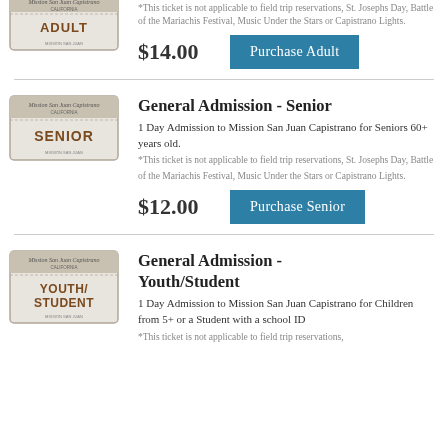[Figure (illustration): Partial Mission San Juan Capistrano adult admission ticket (cropped at top)]
*This ticket is not applicable to field trip reservations, St. Josephs Day, Battle of the Mariachis Festival, Music Under the Stars or Capistrano Lights.
$14.00
Purchase Adult
General Admission - Senior
[Figure (illustration): Mission San Juan Capistrano Senior admission ticket]
1 Day Admission to Mission San Juan Capistrano for Seniors 60+ years old.
*This ticket is not applicable to field trip reservations, St. Josephs Day, Battle of the Mariachis Festival, Music Under the Stars or Capistrano Lights.
$12.00
Purchase Senior
General Admission - Youth/Student
[Figure (illustration): Mission San Juan Capistrano Youth/Student admission ticket]
1 Day Admission to Mission San Juan Capistrano for Children from 5+ or a Student with a school ID
*This ticket is not applicable to field trip reservations,